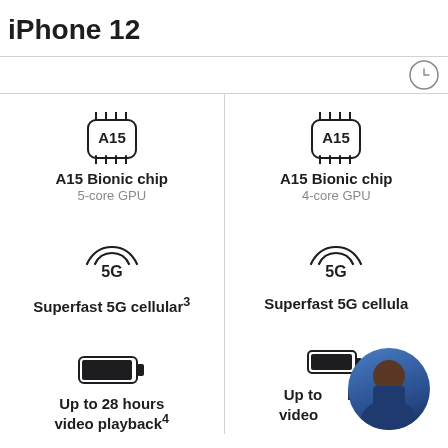iPhone 12
[Figure (screenshot): Apple iPhone 12 comparison page showing A15 Bionic chip (5-core GPU vs 4-core GPU), Superfast 5G cellular, and battery life (Up to 28 hours video playback) for two models side by side, with a circular avatar photo overlapping the bottom-right content.]